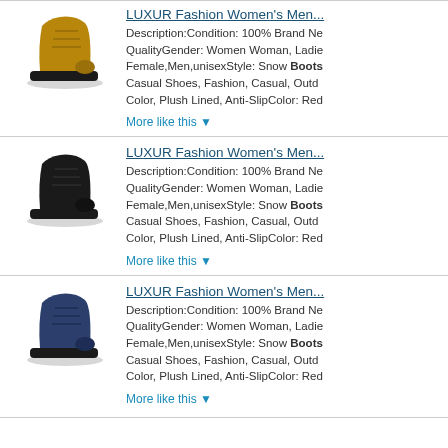[Figure (photo): Brown/tan boot shoe product image]
LUXUR Fashion Women's Men...
Description:Condition: 100% Brand Ne QualityGender: Women Woman, Ladie Female,Men,unisexStyle: Snow Boots Casual Shoes, Fashion, Casual, Outd Color, Plush Lined, Anti-SlipColor: Red
More like this ▼
[Figure (photo): Black boot shoe product image]
LUXUR Fashion Women's Men...
Description:Condition: 100% Brand Ne QualityGender: Women Woman, Ladie Female,Men,unisexStyle: Snow Boots Casual Shoes, Fashion, Casual, Outd Color, Plush Lined, Anti-SlipColor: Red
More like this ▼
[Figure (photo): Dark navy boot shoe product image]
LUXUR Fashion Women's Men...
Description:Condition: 100% Brand Ne QualityGender: Women Woman, Ladie Female,Men,unisexStyle: Snow Boots Casual Shoes, Fashion, Casual, Outd Color, Plush Lined, Anti-SlipColor: Red
More like this ▼